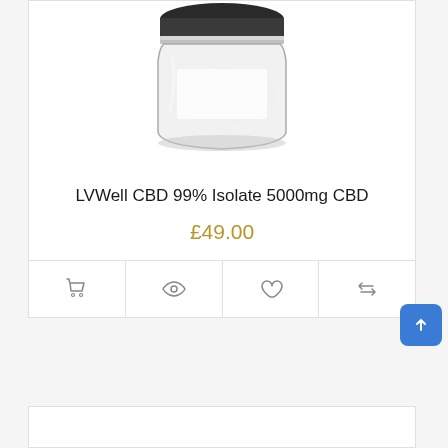[Figure (photo): Product photo of LVWell CBD Isolate jar with black lid and clear glass body, partially cropped at top]
LVWell CBD 99% Isolate 5000mg CBD
£49.00
[Figure (other): Action bar with four icon buttons: shopping cart, eye/view, heart/wishlist, and compare/refresh arrows]
[Figure (other): Blue back-to-top button with upward arrow in bottom-right corner]
[Figure (other): Partial white card at the bottom of the page]